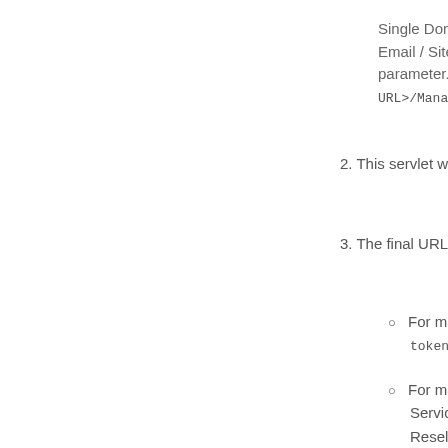Single Domain Hosting / Email / SiteLock / CodeGuard parameter. So, in order to URL>/ManageOrderBoxC
2. This servlet would need t
3. The final URL to which y
For management of token>&orderid=<or
For management of Services (Legacy W Reseller Hosting, D https://<Your_Brand <orderid>&service-n